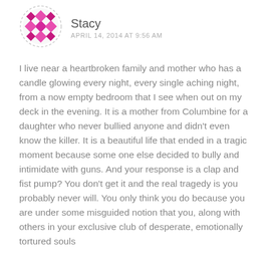[Figure (illustration): Pink/magenta geometric snowflake-style avatar icon in a circular dashed border]
Stacy
APRIL 14, 2014 AT 9:56 AM
I live near a heartbroken family and mother who has a candle glowing every night, every single aching night, from a now empty bedroom that I see when out on my deck in the evening. It is a mother from Columbine for a daughter who never bullied anyone and didn't even know the killer. It is a beautiful life that ended in a tragic moment because some one else decided to bully and intimidate with guns. And your response is a clap and fist pump? You don't get it and the real tragedy is you probably never will. You only think you do because you are under some misguided notion that you, along with others in your exclusive club of desperate, emotionally tortured souls